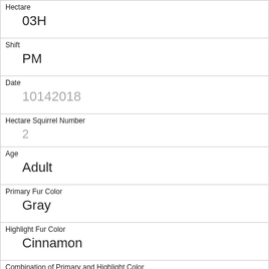| Hectare | 03H |
| Shift | PM |
| Date | 10142018 |
| Hectare Squirrel Number | 2 |
| Age | Adult |
| Primary Fur Color | Gray |
| Highlight Fur Color | Cinnamon |
| Combination of Primary and Highlight Color | Gray+Cinnamon |
| Color notes |  |
| Location | Ground Plane |
| Above Ground Sighter Measurement |  |